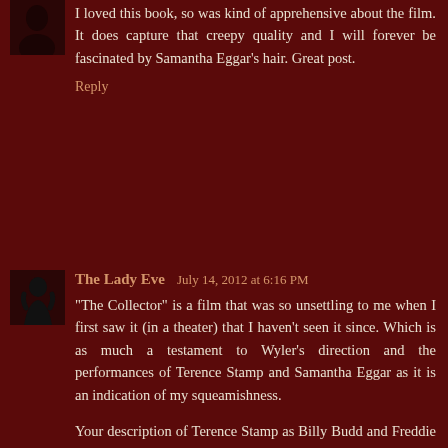I loved this book, so was kind of apprehensive about the film. It does capture that creepy quality and I will forever be fascinated by Samantha Eggar's hair. Great post.
Reply
The Lady Eve  July 14, 2012 at 6:16 PM
"The Collector" is a film that was so unsettling to me when I first saw it (in a theater) that I haven't seen it since. Which is as much a testament to Wyler's direction and the performances of Terence Stamp and Samantha Eggar as it is an indication of my squeamishness.
Your description of Terence Stamp as Billy Budd and Freddie Clegg is very perceptive and beautifully expressed. The man has the looks and presence of a god and yet he was able to transform himself and become utterly repellent (as I recall the character) in his portrayal of Freddie. By the way, I think Freddie could reasonably be compared with Hitchcock's foremost cinematic psychopath, Norman Bates, another confused young man with difficulty relating